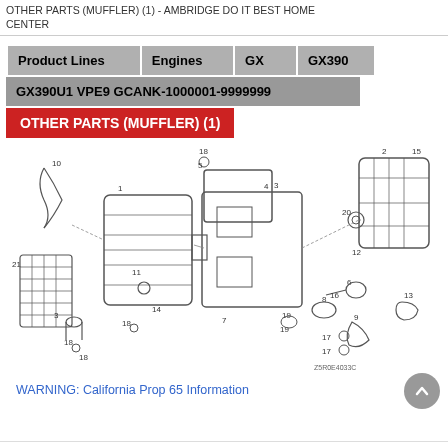OTHER PARTS (MUFFLER) (1) - AMBRIDGE DO IT BEST HOME CENTER
| Product Lines | Engines | GX | GX390 |
| --- | --- | --- | --- |
GX390U1 VPE9 GCANK-1000001-9999999
OTHER PARTS (MUFFLER) (1)
[Figure (engineering-diagram): Exploded parts diagram of a muffler assembly for Honda GX390 engine, showing numbered components (1-21) including muffler body, cover, gaskets, bolts, and exhaust components. Part number reference: Z5R0E4033C shown at bottom right.]
WARNING: California Prop 65 Information